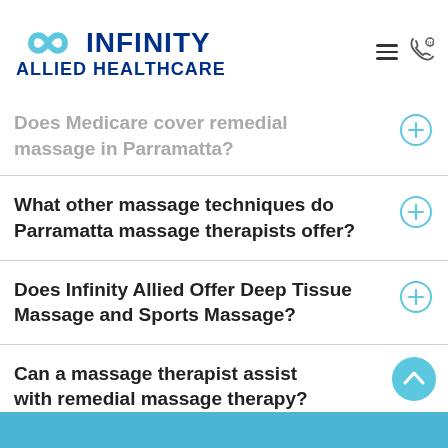[Figure (logo): Infinity Allied Healthcare logo with infinity symbol in light blue and bold dark blue text]
Does Medicare cover remedial massage in Parramatta?
What other massage techniques do Parramatta massage therapists offer?
Does Infinity Allied Offer Deep Tissue Massage and Sports Massage?
Can a massage therapist assist with remedial massage therapy?